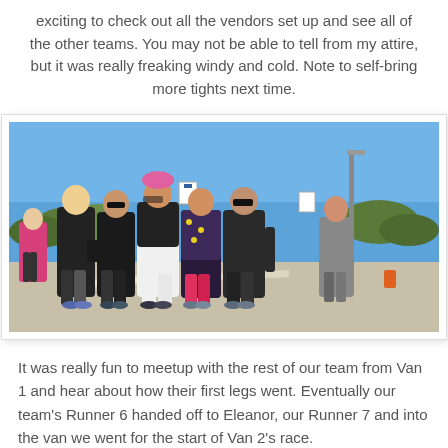exciting to check out all the vendors set up and see all of the other teams. You may not be able to tell from my attire, but it was really freaking windy and cold. Note to self-bring more tights next time.
[Figure (photo): Group photo of six women standing together outdoors on a road or parking area. They are wearing athletic clothing, mostly dark jackets and shorts. One person is wearing a pink cap. The background shows a blue sky, light poles, and sports facility infrastructure. The scene suggests a relay race event.]
It was really fun to meetup with the rest of our team from Van 1 and hear about how their first legs went. Eventually our team's Runner 6 handed off to Eleanor, our Runner 7 and into the van we went for the start of Van 2's race.